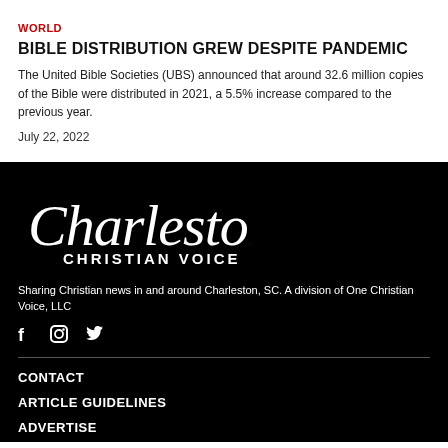WORLD
BIBLE DISTRIBUTION GREW DESPITE PANDEMIC
The United Bible Societies (UBS) announced that around 32.6 million copies of the Bible were distributed in 2021, a 5.5% increase compared to the previous year.
July 22, 2022
[Figure (logo): Charleston Christian Voice logo in white script and sans-serif text on black background]
Sharing Christian news in and around Charleston, SC. A division of One Christian Voice, LLC
CONTACT
ARTICLE GUIDELINES
ADVERTISE